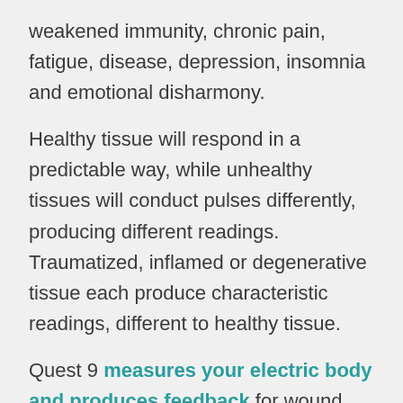weakened immunity, chronic pain, fatigue, disease, depression, insomnia and emotional disharmony.
Healthy tissue will respond in a predictable way, while unhealthy tissues will conduct pulses differently, producing different readings. Traumatized, inflamed or degenerative tissue each produce characteristic readings, different to healthy tissue.
Quest 9 measures your electric body and produces feedback for wound healing, pain reduction, relaxation and stress reduction by electrical stimulation.